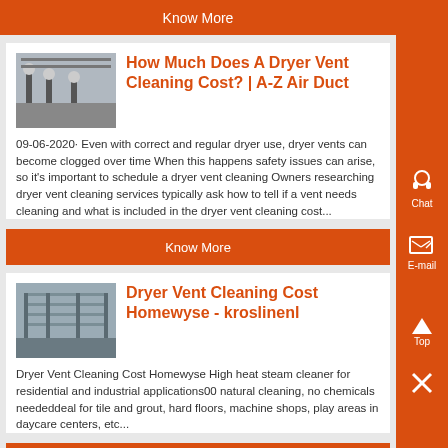Know More
[Figure (photo): Workers or technicians in what appears to be a facility or work site]
How Much Does A Dryer Vent Cleaning Cost? | A-Z Air Duct
09-06-2020· Even with correct and regular dryer use, dryer vents can become clogged over time When this happens safety issues can arise, so it's important to schedule a dryer vent cleaning Owners researching dryer vent cleaning services typically ask how to tell if a vent needs cleaning and what is included in the dryer vent cleaning cost...
Know More
[Figure (photo): Industrial facility interior, possibly a factory or warehouse]
Dryer Vent Cleaning Cost Homewyse - kroslinenl
Dryer Vent Cleaning Cost Homewyse High heat steam cleaner for residential and industrial applications00 natural cleaning, no chemicals neededdeal for tile and grout, hard floors, machine shops, play areas in daycare centers, etc...
Know More